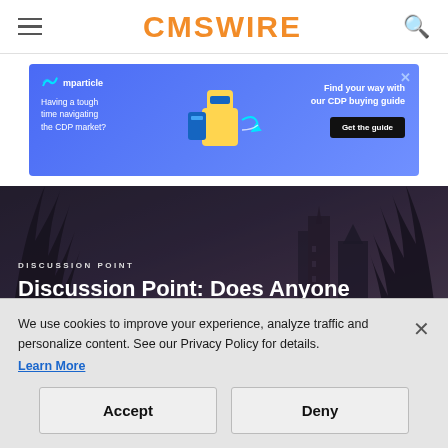CMSWIRE
[Figure (illustration): mparticle advertisement banner with blue gradient background showing a robot character with a backpack and navigation arrows. Text: 'Having a tough time navigating the CDP market? Find your way with our CDP buying guide. Get the guide']
[Figure (photo): Dark moody cityscape with trees in foreground and building silhouettes in background. Category label: DISCUSSION POINT. Title: Discussion Point: Does Anyone Care About Information]
We use cookies to improve your experience, analyze traffic and personalize content. See our Privacy Policy for details.
Learn More
Accept
Deny